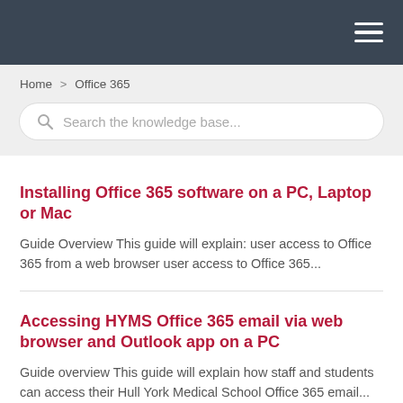[Figure (screenshot): Dark grey navigation bar with hamburger menu icon (three horizontal white lines) in the top right corner]
Home > Office 365
Search the knowledge base...
Installing Office 365 software on a PC, Laptop or Mac
Guide Overview This guide will explain: user access to Office 365 from a web browser user access to Office 365...
Accessing HYMS Office 365 email via web browser and Outlook app on a PC
Guide overview This guide will explain how staff and students can access their Hull York Medical School Office 365 email...